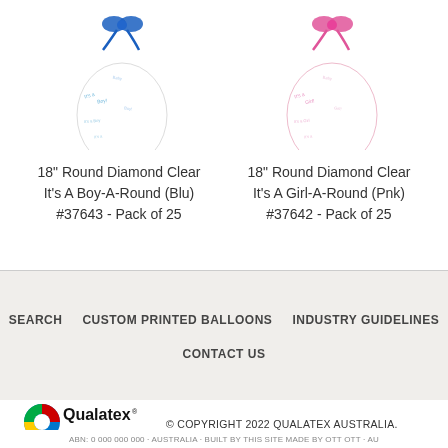[Figure (photo): 18 inch Round Diamond Clear It's A Boy-A-Round balloon with blue bow, white with blue text pattern]
18" Round Diamond Clear
It's A Boy-A-Round (Blu)
#37643 - Pack of 25
[Figure (photo): 18 inch Round Diamond Clear It's A Girl-A-Round balloon with pink bow, white with pink text pattern]
18" Round Diamond Clear
It's A Girl-A-Round (Pnk)
#37642 - Pack of 25
SEARCH
CUSTOM PRINTED BALLOONS
INDUSTRY GUIDELINES
CONTACT US
[Figure (logo): Qualatex Australia & New Zealand logo with colorful Q mark]
© COPYRIGHT 2022 QUALATEX AUSTRALIA.